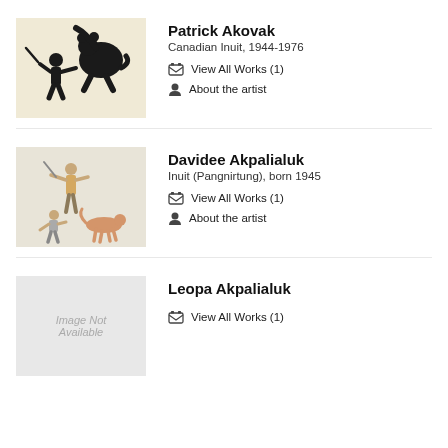[Figure (illustration): Artwork thumbnail showing black silhouette figures of a person and a bear-like animal in traditional Inuit style]
Patrick Akovak
Canadian Inuit, 1944-1976
View All Works (1)
About the artist
[Figure (illustration): Artwork thumbnail showing lightly colored figures of people and a dog in Inuit style]
Davidee Akpalialuk
Inuit (Pangnirtung), born 1945
View All Works (1)
About the artist
[Figure (illustration): Image Not Available placeholder thumbnail]
Leopa Akpalialuk
View All Works (1)